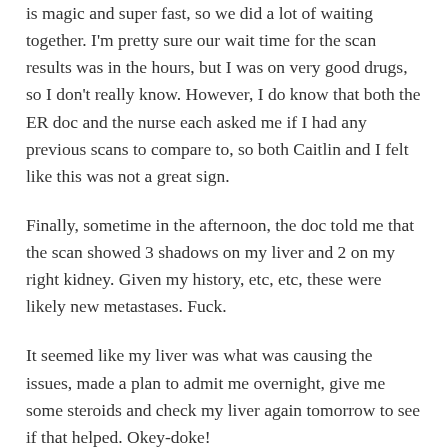is magic and super fast, so we did a lot of waiting together. I'm pretty sure our wait time for the scan results was in the hours, but I was on very good drugs, so I don't really know. However, I do know that both the ER doc and the nurse each asked me if I had any previous scans to compare to, so both Caitlin and I felt like this was not a great sign.
Finally, sometime in the afternoon, the doc told me that the scan showed 3 shadows on my liver and 2 on my right kidney. Given my history, etc, etc, these were likely new metastases. Fuck.
It seemed like my liver was what was causing the issues, made a plan to admit me overnight, give me some steroids and check my liver again tomorrow to see if that helped. Okey-doke!
I went inpatient upstairs about 7 or 8 PM or so (I think), by which time I was off the IV dilaudid and